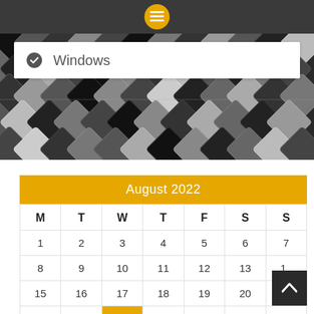[Figure (screenshot): Top dark navigation bar with orange menu icon (hamburger) centered]
Windows
[Figure (illustration): Diamond/argyle dark pattern background section]
| M | T | W | T | F | S | S |
| --- | --- | --- | --- | --- | --- | --- |
| 1 | 2 | 3 | 4 | 5 | 6 | 7 |
| 8 | 9 | 10 | 11 | 12 | 13 | 14 |
| 15 | 16 | 17 | 18 | 19 | 20 | 21 |
| 22 | 23 | 24 | 25 | 26 | 27 | 28 |
| 29 | 30 | 31 |  |  |  |  |